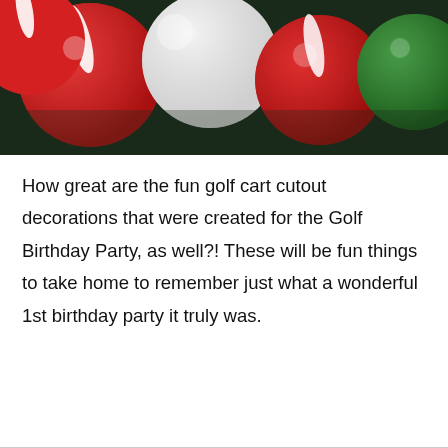[Figure (photo): Close-up photo of colorful golf balls — red, white, and green — clustered together on a dark surface]
How great are the fun golf cart cutout decorations that were created for the Golf Birthday Party, as well?! These will be fun things to take home to remember just what a wonderful 1st birthday party it truly was.